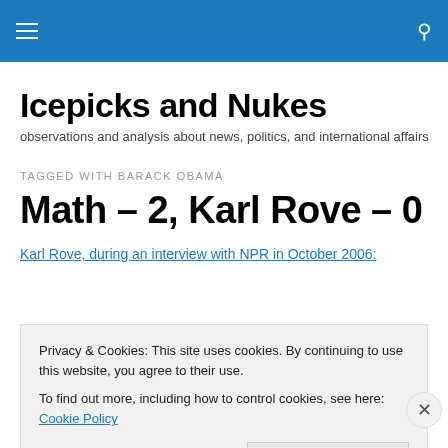Icepicks and Nukes [site navigation bar with hamburger menu and search icon]
Icepicks and Nukes
observations and analysis about news, politics, and international affairs
TAGGED WITH BARACK OBAMA
Math – 2, Karl Rove – 0
Karl Rove, during an interview with NPR in October 2006:
Privacy & Cookies: This site uses cookies. By continuing to use this website, you agree to their use.
To find out more, including how to control cookies, see here: Cookie Policy
Close and accept